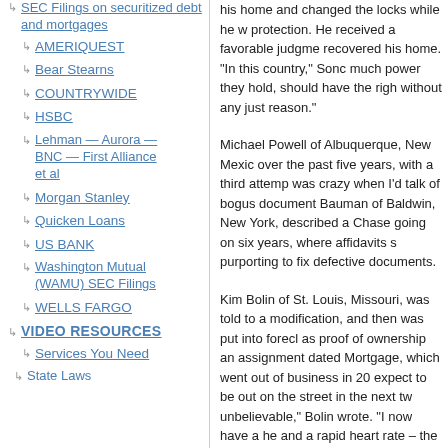SEC Filings on securitized debt and mortgages
AMERIQUEST
Bear Stearns
COUNTRYWIDE
HSBC
Lehman — Aurora — BNC — First Alliance et al
Morgan Stanley
Quicken Loans
US BANK
Washington Mutual (WAMU) SEC Filings
WELLS FARGO
VIDEO RESOURCES
Services You Need
State Laws
his home and changed the locks while he w... protection. He received a favorable judgme... recovered his home. "In this country," Sonc... much power they hold, should have the rig... without any just reason."
Michael Powell of Albuquerque, New Mexic... over the past five years, with a third attemp... was crazy when I'd talk of bogus document... Bauman of Baldwin, New York, described a... Chase going on six years, where affidavits s... purporting to fix defective documents.
Kim Bolin of St. Louis, Missouri, was told to... a modification, and then was put into forecl... as proof of ownership an assignment dated... Mortgage, which went out of business in 20... expect to be out on the street in the next tw... unbelievable," Bolin wrote. "I now have a he... and a rapid heart rate – the only reason the... living with every day."